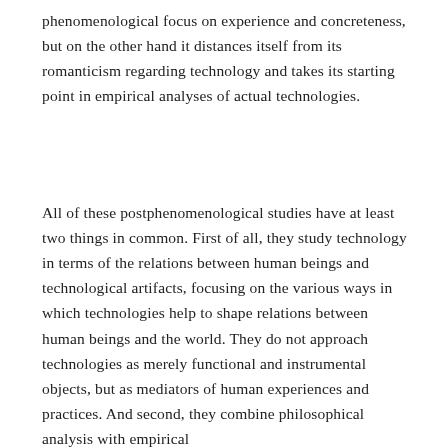phenomenological focus on experience and concreteness, but on the other hand it distances itself from its romanticism regarding technology and takes its starting point in empirical analyses of actual technologies.
All of these postphenomenological studies have at least two things in common. First of all, they study technology in terms of the relations between human beings and technological artifacts, focusing on the various ways in which technologies help to shape relations between human beings and the world. They do not approach technologies as merely functional and instrumental objects, but as mediators of human experiences and practices. And second, they combine philosophical analysis with empirical